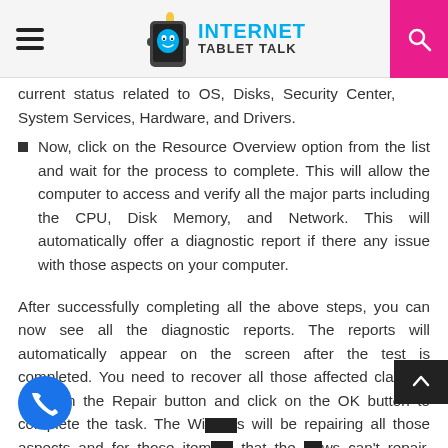Internet Tablet Talk
current status related to OS, Disks, Security Center, System Services, Hardware, and Drivers.
Now, click on the Resource Overview option from the list and wait for the process to complete. This will allow the computer to access and verify all the major parts including the CPU, Disk Memory, and Network. This will automatically offer a diagnostic report if there any issue with those aspects on your computer.
After successfully completing all the above steps, you can now see all the diagnostic reports. The reports will automatically appear on the screen after the test is completed. You need to recover all those affected clauses. Click on the Repair button and click on the OK button to complete the task. The Windows will be repairing all those aspects and for those items that the Windows can't repair, simply click on the Delete button from